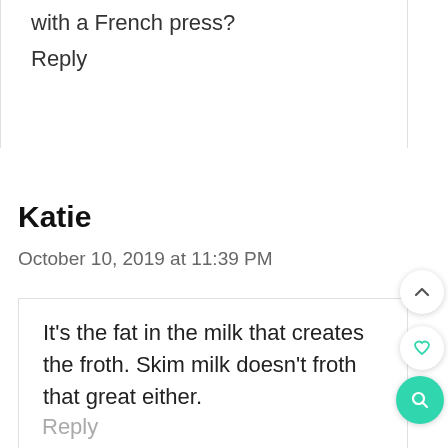with a French press?
Reply
Katie
October 10, 2019 at 11:39 PM
It's the fat in the milk that creates the froth. Skim milk doesn't froth that great either.
Reply